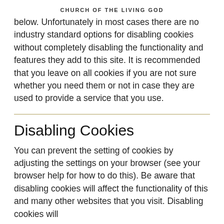CHURCH OF THE LIVING GOD
below. Unfortunately in most cases there are no industry standard options for disabling cookies without completely disabling the functionality and features they add to this site. It is recommended that you leave on all cookies if you are not sure whether you need them or not in case they are used to provide a service that you use.
Disabling Cookies
You can prevent the setting of cookies by adjusting the settings on your browser (see your browser help for how to do this). Be aware that disabling cookies will affect the functionality of this and many other websites that you visit. Disabling cookies will